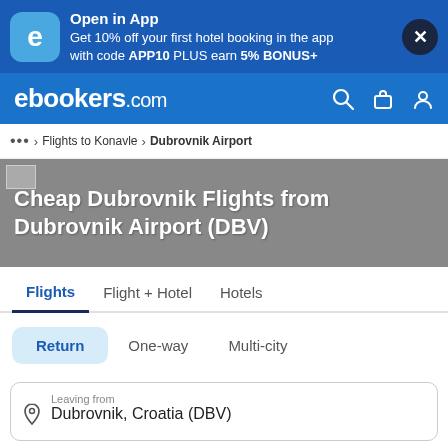Open in App
Get 10% off your first hotel booking in the app with code APP10 PLUS earn 5% BONUS+
ebookers.com
... > Flights to Konavle > Dubrovnik Airport
Cheap Dubrovnik Flights from Dubrovnik Airport (DBV)
Flights   Flight + Hotel   Hotels
Return   One-way   Multi-city
Leaving from
Dubrovnik, Croatia (DBV)